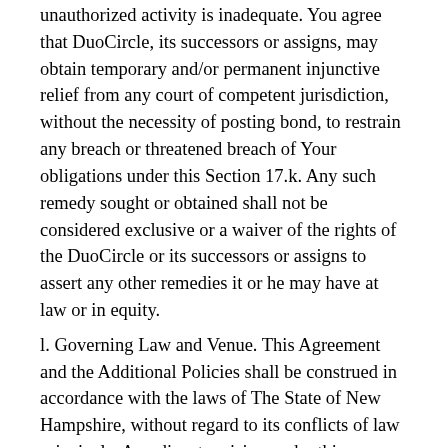unauthorized activity is inadequate. You agree that DuoCircle, its successors or assigns, may obtain temporary and/or permanent injunctive relief from any court of competent jurisdiction, without the necessity of posting bond, to restrain any breach or threatened breach of Your obligations under this Section 17.k. Any such remedy sought or obtained shall not be considered exclusive or a waiver of the rights of the DuoCircle or its successors or assigns to assert any other remedies it or he may have at law or in equity.
l. Governing Law and Venue. This Agreement and the Additional Policies shall be construed in accordance with the laws of The State of New Hampshire, without regard to its conflicts of law principals. Any dispute arising under this Agreement or the Additional Policies shall be resolved exclusively by the state and federal courts located in the the State of Delaware and You consent to the